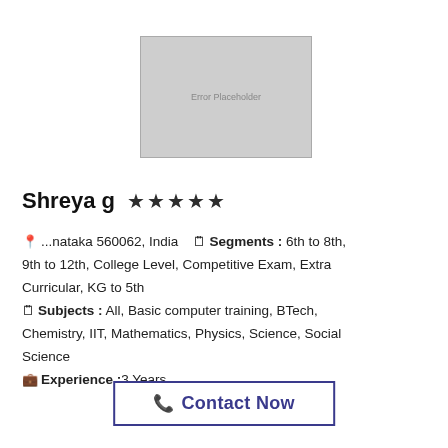[Figure (photo): Error placeholder image for tutor profile photo]
Shreya g ★★★★★
📍 ...nataka 560062, India   🗒 Segments : 6th to 8th, 9th to 12th, College Level, Competitive Exam, Extra Curricular, KG to 5th
🗒 Subjects : All, Basic computer training, BTech, Chemistry, IIT, Mathematics, Physics, Science, Social Science
💼 Experience :3 Years
📞 Contact Now